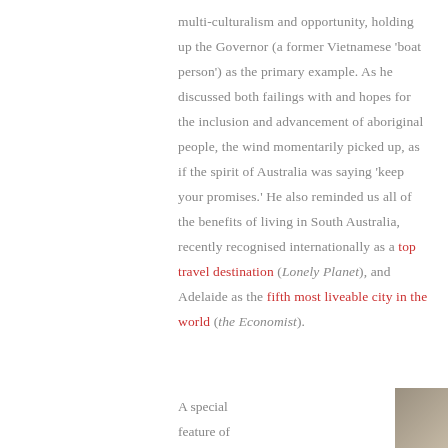multi-culturalism and opportunity, holding up the Governor (a former Vietnamese 'boat person') as the primary example. As he discussed both failings with and hopes for the inclusion and advancement of aboriginal people, the wind momentarily picked up, as if the spirit of Australia was saying 'keep your promises.' He also reminded us all of the benefits of living in South Australia, recently recognised internationally as a top travel destination (Lonely Planet), and Adelaide as the fifth most liveable city in the world (the Economist).
A special feature of
[Figure (photo): Partial photo of a sketch or artwork, partially visible at bottom right of page]